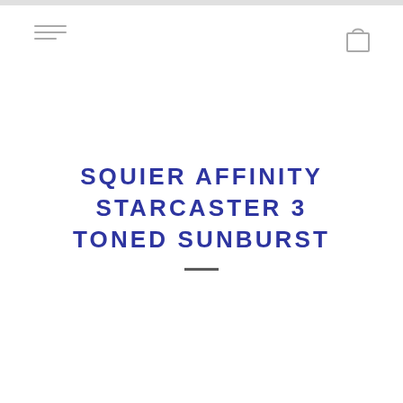SQUIER AFFINITY STARCASTER 3 TONED SUNBURST